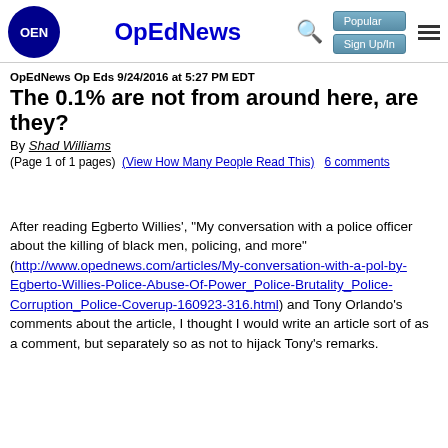OpEdNews
OpEdNews Op Eds 9/24/2016 at 5:27 PM EDT
The 0.1% are not from around here, are they?
By Shad Williams
(Page 1 of 1 pages)  (View How Many People Read This)   6 comments
After reading Egberto Willies', "My conversation with a police officer about the killing of black men, policing, and more" (http://www.opednews.com/articles/My-conversation-with-a-pol-by-Egberto-Willies-Police-Abuse-Of-Power_Police-Brutality_Police-Corruption_Police-Coverup-160923-316.html) and Tony Orlando's comments about the article, I thought I would write an article sort of as a comment, but separately so as not to hijack Tony's remarks.